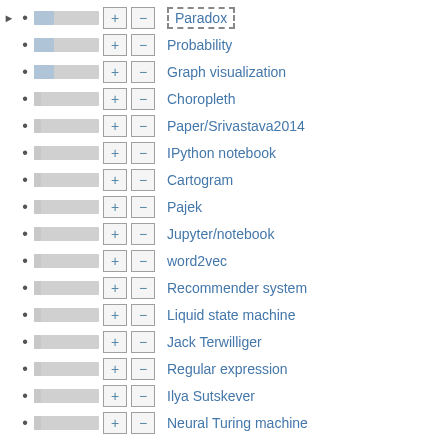Paradox
Probability
Graph visualization
Choropleth
Paper/Srivastava2014
IPython notebook
Cartogram
Pajek
Jupyter/notebook
word2vec
Recommender system
Liquid state machine
Jack Terwilliger
Regular expression
Ilya Sutskever
Neural Turing machine